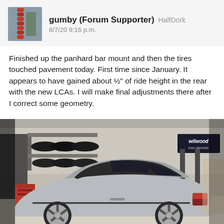gumby (Forum Supporter) HalfDork 8/7/20 9:16 p.m.
Finished up the panhard bar mount and then the tires touched pavement today. First time since January. It appears to have gained about ½" of ride height in the rear with the new LCAs. I will make final adjustments there after I correct some geometry.
[Figure (photo): Silver coupe car parked in a garage workshop. The car has five-spoke aftermarket wheels. In the background are tires on a wall rack, a red toolbox, a car lift, and a Wilwood Disc Brakes banner/sign on the wall.]